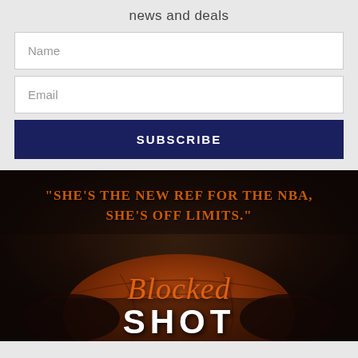news and deals
Name
Email
SUBSCRIBE
[Figure (illustration): Dark background showing hands holding a basketball, with orange serif text reading "SHE'S THE NEW REF FOR THE NBA, SHE'S OFF LIMITS." and stylized script text 'Blocked' followed by large white block letters 'SHOT' at the bottom.]